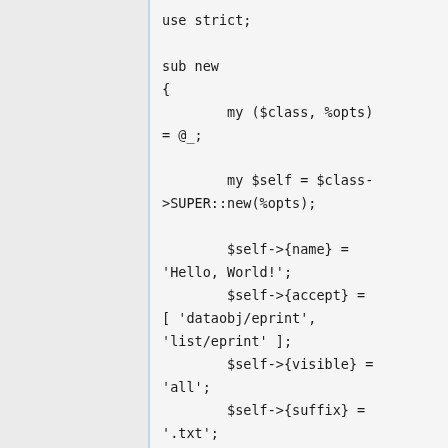use strict;

sub new
{
        my ($class, %opts) = @_;

        my $self = $class->SUPER::new(%opts);

        $self->{name} = 'Hello, World!';
        $self->{accept} = [ 'dataobj/eprint', 'list/eprint' ];
        $self->{visible} = 'all';
        $self->{suffix} = '.txt';
        $self->{mimetype} = 'text/plain; charset=utf-8';

        return $self;
}